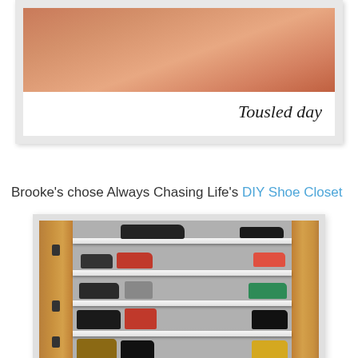[Figure (photo): Polaroid-style photo with handwritten cursive text 'Tousled day' on white border, showing partial image at top]
Brooke's chose Always Chasing Life's DIY Shoe Closet
[Figure (photo): Photo of a DIY shoe closet with wooden door frame and multiple white shelves holding various pairs of shoes including heels, boots, and sandals]